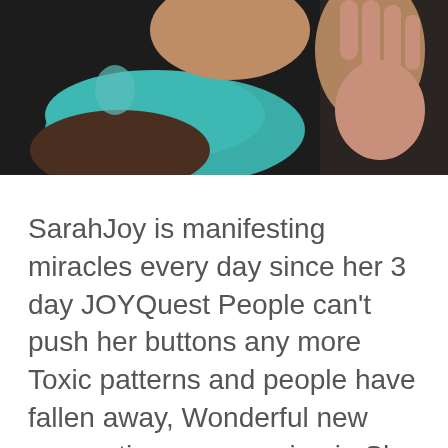[Figure (photo): Partial photo of a person wearing a teal scarf and brown top, with a hand raised near face, dark background]
SarahJoy is manifesting miracles every day since her 3 day JOYQuest People can't push her buttons any more Toxic patterns and people have fallen away, Wonderful new connections are pouring in She has changed physically, and is standing fully in her Sovereignty while also playing and experiencing